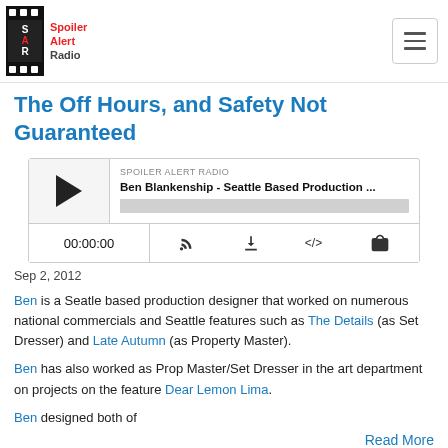Spoiler Alert Radio
The Off Hours, and Safety Not Guaranteed
[Figure (screenshot): Audio player widget for podcast episode 'Ben Blankenship - Seattle Based Production ...' on Spoiler Alert Radio. Shows play button, progress bar, timestamp 00:00:00, and control icons.]
Sep 2, 2012
Ben is a Seatle based production designer that worked on numerous national commercials and Seattle features such as The Details (as Set Dresser) and Late Autumn (as Property Master).
Ben has also worked as Prop Master/Set Dresser in the art department on projects on the feature Dear Lemon Lima.
Ben designed both of
Read More